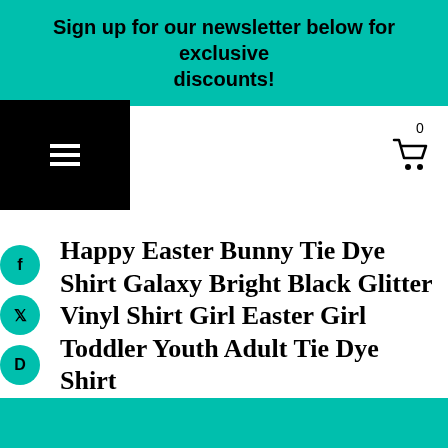Sign up for our newsletter below for exclusive discounts!
Happy Easter Bunny Tie Dye Shirt Galaxy Bright Black Glitter Vinyl Shirt Girl Easter Girl Toddler Youth Adult Tie Dye Shirt